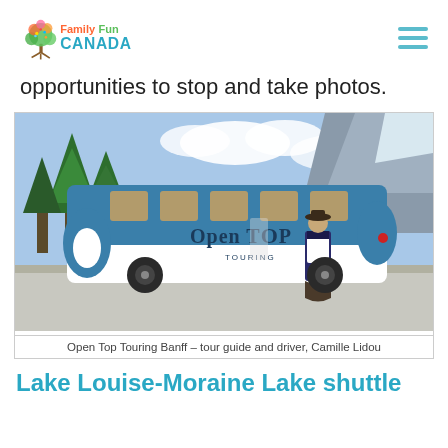FamilyFun CANADA
opportunities to stop and take photos.
[Figure (photo): A blue and white vintage-style Open Top Touring bus parked on a road with mountains and trees in the background. A tour guide and driver, Camille Lidou, stands beside the bus wearing a hat and vest.]
Open Top Touring Banff – tour guide and driver, Camille Lidou
Lake Louise-Moraine Lake shuttle